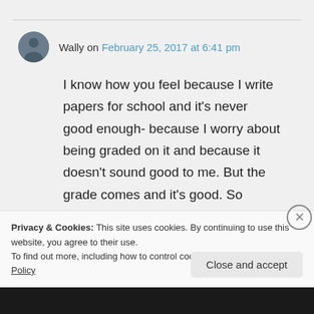Wally on February 25, 2017 at 6:41 pm
I know how you feel because I write papers for school and it's never good enough- because I worry about being graded on it and because it doesn't sound good to me. But the grade comes and it's good. So maybe we are good, just
Privacy & Cookies: This site uses cookies. By continuing to use this website, you agree to their use.
To find out more, including how to control cookies, see here: Cookie Policy
Close and accept